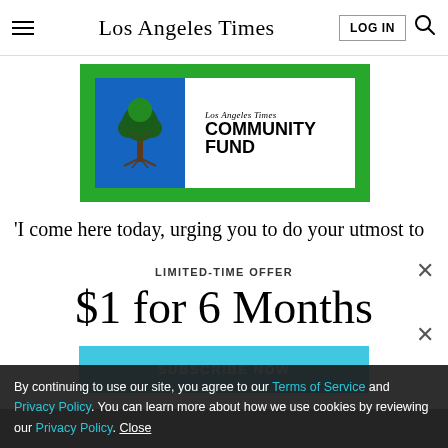Los Angeles Times
[Figure (illustration): Los Angeles Times Community Fund banner advertisement with green border, blue square with tree roots graphic, and bold text reading COMMUNITY FUND]
'I come here today, urging you to do your utmost to
LIMITED-TIME OFFER
$1 for 6 Months
SUBSCRIBE NOW
By continuing to use our site, you agree to our Terms of Service and Privacy Policy. You can learn more about how we use cookies by reviewing our Privacy Policy. Close